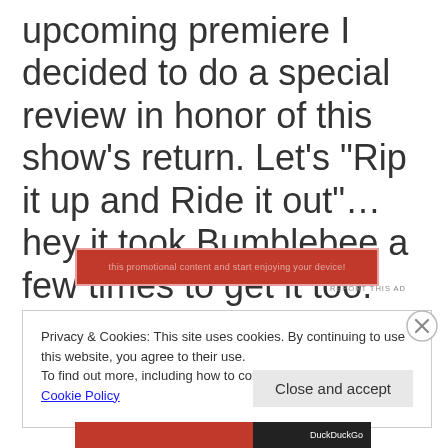Now with the second season's upcoming premiere I decided to do a special review in honor of this show's return. Let's "Rip it up and Ride it out"...hey it took Bumblebee a few times to get it too.
[Figure (other): Red advertisement banner with faint text overlay]
REPORT THIS AD
Privacy & Cookies: This site uses cookies. By continuing to use this website, you agree to their use.
To find out more, including how to control cookies, see here: Cookie Policy
Close and accept
[Figure (other): Bottom advertisement banner with red and dark sections]